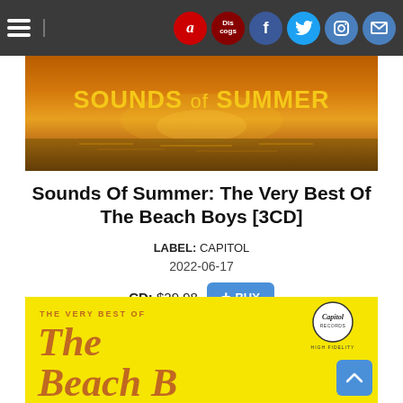Navigation bar with hamburger menu and icons: Amazon, Discogs, Facebook, Twitter, Instagram, Mail
[Figure (photo): Album banner image with orange/golden sunset sky background and text 'SOUNDS of SUMMER' in yellow bold letters]
Sounds Of Summer: The Very Best Of The Beach Boys [3CD]
LABEL: CAPITOL
2022-06-17
CD: $29.98   + BUY
[Figure (photo): Bottom portion of album cover with bright yellow background, Capitol Records logo in top right, text 'THE VERY BEST OF' and large italic script text 'The Beach Boys' in orange/brown color]